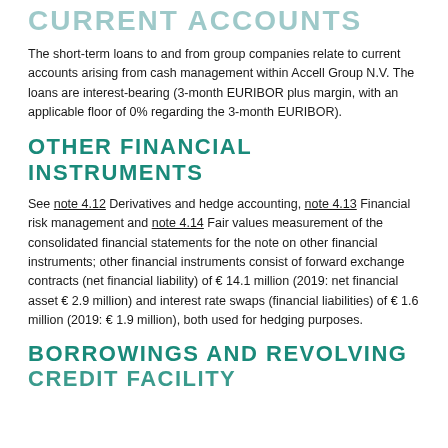CURRENT ACCOUNTS
The short-term loans to and from group companies relate to current accounts arising from cash management within Accell Group N.V. The loans are interest-bearing (3-month EURIBOR plus margin, with an applicable floor of 0% regarding the 3-month EURIBOR).
OTHER FINANCIAL INSTRUMENTS
See note 4.12 Derivatives and hedge accounting, note 4.13 Financial risk management and note 4.14 Fair values measurement of the consolidated financial statements for the note on other financial instruments; other financial instruments consist of forward exchange contracts (net financial liability) of € 14.1 million (2019: net financial asset € 2.9 million) and interest rate swaps (financial liabilities) of € 1.6 million (2019: € 1.9 million), both used for hedging purposes.
BORROWINGS AND REVOLVING CREDIT FACILITY